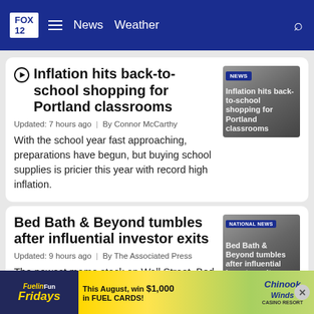FOX 12 | News | Weather
Inflation hits back-to-school shopping for Portland classrooms
[Figure (screenshot): Thumbnail image of news article about inflation hitting back-to-school shopping for Portland classrooms with NEWS badge overlay]
Updated: 7 hours ago | By Connor McCarthy
With the school year fast approaching, preparations have begun, but buying school supplies is pricier this year with record high inflation.
Bed Bath & Beyond tumbles after influential investor exits
[Figure (screenshot): Thumbnail image of news article about Bed Bath & Beyond tumbling after influential investor exits with NATIONAL NEWS badge overlay]
Updated: 9 hours ago | By The Associated Press
The newest meme stock on Wall Street, Bed Bath & Beyond, tumbled Thursday...
[Figure (other): Advertisement banner: Fuelin Fun Fridays - This August, win $1,000 in FUEL CARDS! Chinook Winds Casino Resort]